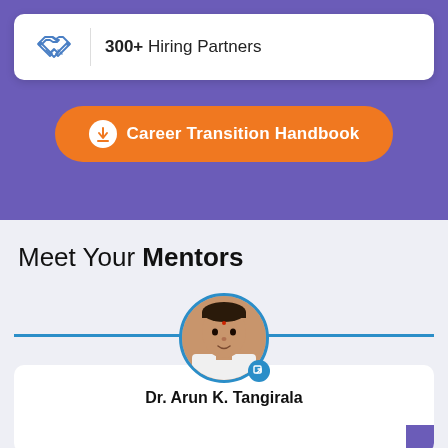[Figure (infographic): White card with blue handshake icon and text showing 300+ Hiring Partners on purple background]
300+ Hiring Partners
[Figure (infographic): Orange rounded button with download icon and text Career Transition Handbook on purple background]
Career Transition Handbook
Meet Your Mentors
[Figure (photo): Circular profile photo of Dr. Arun K. Tangirala with blue border and link badge, overlaid on a blue horizontal line above a white card]
Dr. Arun K. Tangirala